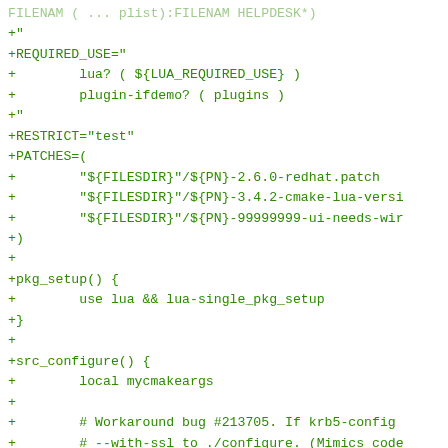FILENAM ( ... plist):FILENAM HELPDESK*)
+"
+REQUIRED_USE="
+        lua? ( ${LUA_REQUIRED_USE} )
+        plugin-ifdemo? ( plugins )
+"
+RESTRICT="test"
+PATCHES=(
+        "${FILESDIR}"/${PN}-2.6.0-redhat.patch
+        "${FILESDIR}"/${PN}-3.4.2-cmake-lua-versi
+        "${FILESDIR}"/${PN}-99999999-ui-needs-wir
+)
+
+pkg_setup() {
+        use lua && lua-single_pkg_setup
+}
+
+src_configure() {
+        local mycmakeargs
+
+        # Workaround bug #213705. If krb5-config
+        # --with-ssl to ./configure. (Mimics code